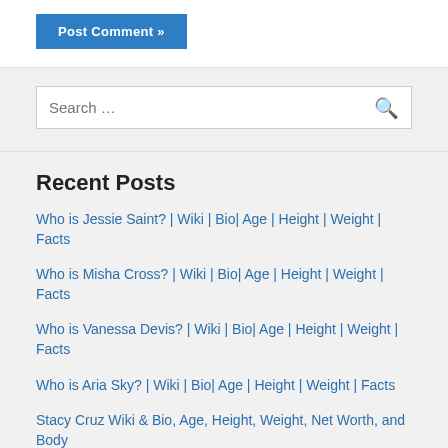[Figure (screenshot): Post Comment button — blue rectangle with white text 'Post Comment »']
Search …
Recent Posts
Who is Jessie Saint? | Wiki | Bio| Age | Height | Weight | Facts
Who is Misha Cross? | Wiki | Bio| Age | Height | Weight | Facts
Who is Vanessa Devis? | Wiki | Bio| Age | Height | Weight | Facts
Who is Aria Sky? | Wiki | Bio| Age | Height | Weight | Facts
Stacy Cruz Wiki & Bio, Age, Height, Weight, Net Worth, and Body